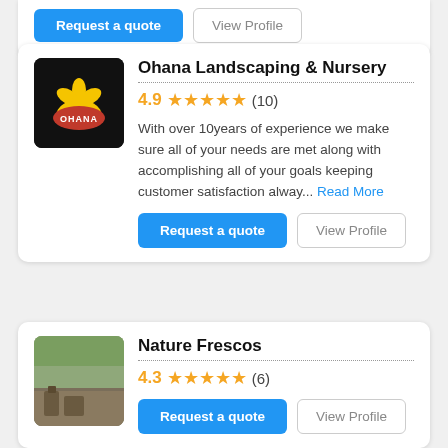[Figure (screenshot): Partial top card with 'Request a quote' blue button and 'View Profile' outline button visible at top]
Ohana Landscaping & Nursery
4.9 ★★★★★ (10)
With over 10years of experience we make sure all of your needs are met along with accomplishing all of your goals keeping customer satisfaction alway... Read More
Request a quote   View Profile
Nature Frescos
4.3 ★★★★★ (6)
Request a quote   View Profile